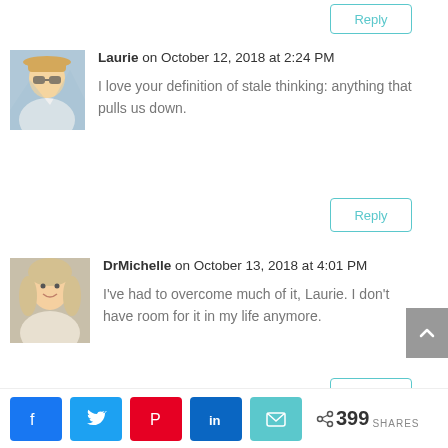[Figure (other): Reply button at top of page]
[Figure (photo): Avatar photo of Laurie, woman wearing hat outdoors]
Laurie on October 12, 2018 at 2:24 PM
I love your definition of stale thinking: anything that pulls us down.
[Figure (other): Reply button for Laurie comment]
[Figure (photo): Avatar photo of DrMichelle, woman with blonde hair]
DrMichelle on October 13, 2018 at 4:01 PM
I've had to overcome much of it, Laurie. I don't have room for it in my life anymore.
[Figure (other): Scroll to top button (gray arrow up)]
[Figure (other): Reply button for DrMichelle comment]
< 399 SHARES (social share bar with Facebook, Twitter, Pinterest, LinkedIn, Email buttons)